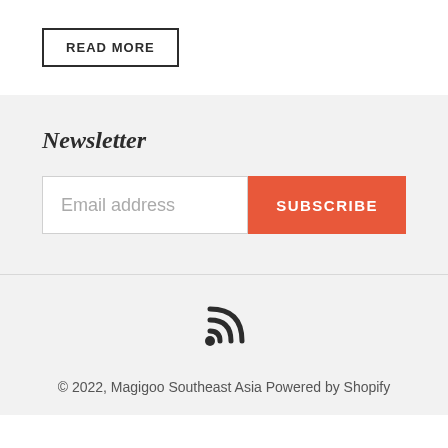READ MORE
Newsletter
Email address
SUBSCRIBE
[Figure (illustration): RSS feed icon - black wifi-style signal arc symbol]
© 2022, Magigoo Southeast Asia Powered by Shopify